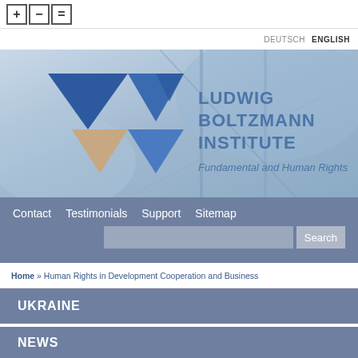[Figure (other): Toolbar with plus, minus, and equals buttons]
DEUTSCH  ENGLISH
[Figure (logo): Ludwig Boltzmann Institute Fundamental and Human Rights logo with blue geometric triangles on a blue-toned photographic background]
[Figure (screenshot): Navigation bar with Contact, Testimonials, Support, Sitemap links and a search box with Search button]
Home » Human Rights in Development Cooperation and Business
UKRAINE
NEWS